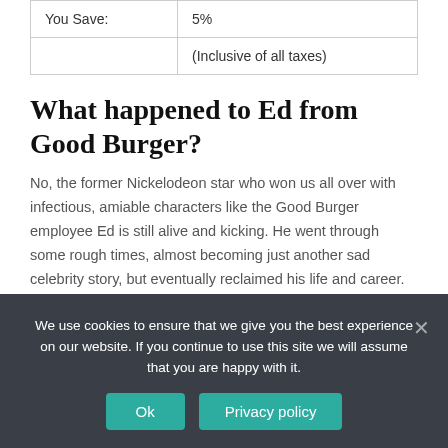| You Save: | 5% |
|  | (Inclusive of all taxes) |
What happened to Ed from Good Burger?
No, the former Nickelodeon star who won us all over with infectious, amiable characters like the Good Burger employee Ed is still alive and kicking. He went through some rough times, almost becoming just another sad celebrity story, but eventually reclaimed his life and career.
How long does homemade burger sauce last?
We use cookies to ensure that we give you the best experience on our website. If you continue to use this site we will assume that you are happy with it.